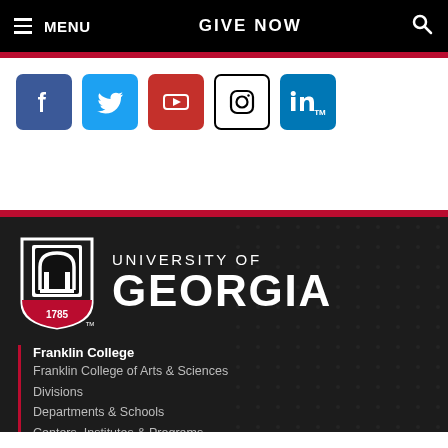≡ MENU   GIVE NOW   🔍
[Figure (logo): Social media icons: Facebook, Twitter, YouTube, Instagram, LinkedIn]
[Figure (logo): University of Georgia logo with arch shield dated 1785 and university name text]
Franklin College
Franklin College of Arts & Sciences
Divisions
Departments & Schools
Centers, Institutes & Programs
IT Support